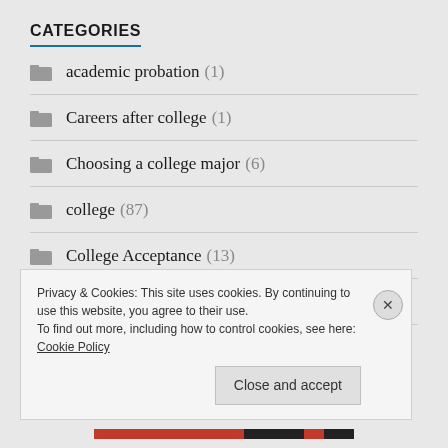CATEGORIES
academic probation (1)
Careers after college (1)
Choosing a college major (6)
college (87)
College Acceptance (13)
College Admissions (109)
Privacy & Cookies: This site uses cookies. By continuing to use this website, you agree to their use.
To find out more, including how to control cookies, see here: Cookie Policy
Close and accept